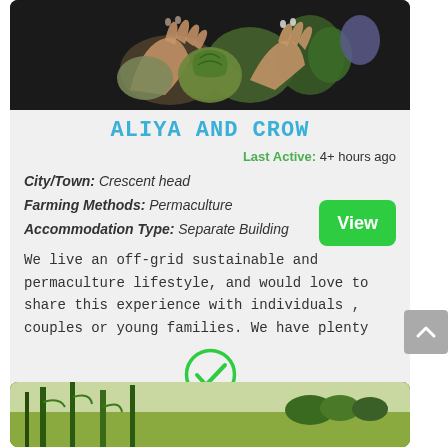[Figure (photo): Hands holding vegetables/gourds from above, dark background]
ALIYA AND CROW
Last Active: 4+ hours ago
City/Town: Crescent head
Farming Methods: Permaculture
Accommodation Type: Separate Building
We live an off-grid sustainable and permaculture lifestyle, and would love to share this experience with individuals , couples or young families. We have plenty
[Figure (illustration): Green circle checkmark icon]
[Figure (photo): Farm landscape with tall plants and trees in background]